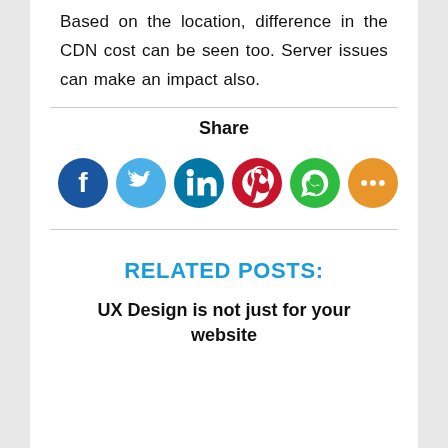Based on the location, difference in the CDN cost can be seen too. Server issues can make an impact also.
[Figure (infographic): Share section with social media icon buttons: Facebook (dark blue), Twitter (light blue), LinkedIn (teal), Pinterest (red), WhatsApp (green), Share (orange)]
RELATED POSTS:
UX Design is not just for your website